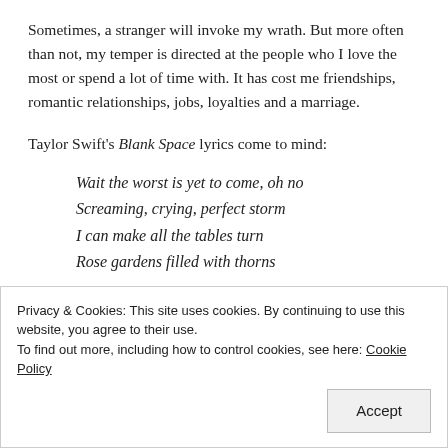Sometimes, a stranger will invoke my wrath. But more often than not, my temper is directed at the people who I love the most or spend a lot of time with. It has cost me friendships, romantic relationships, jobs, loyalties and a marriage.
Taylor Swift's Blank Space lyrics come to mind:
Wait the worst is yet to come, oh no
Screaming, crying, perfect storm
I can make all the tables turn
Rose gardens filled with thorns
Privacy & Cookies: This site uses cookies. By continuing to use this website, you agree to their use.
To find out more, including how to control cookies, see here: Cookie Policy
Accept